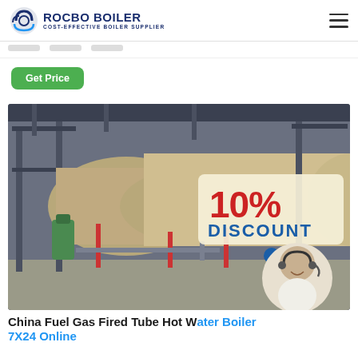ROCBO BOILER - COST-EFFECTIVE BOILER SUPPLIER
Get Price
[Figure (photo): Industrial gas fired tube hot water boilers in a factory setting with a 10% discount promotional overlay and a customer service agent in the corner]
China Fuel Gas Fired Tube Hot Water Boiler 7X24 Online